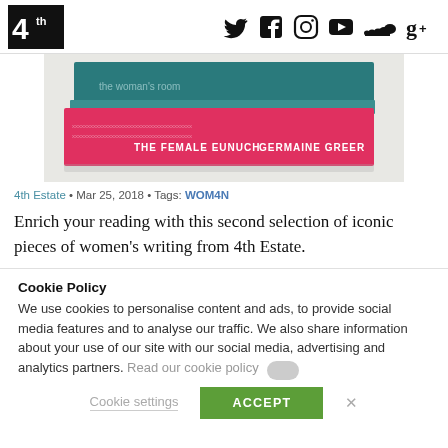4th Estate — social icons: Twitter, Facebook, Instagram, YouTube, SoundCloud, Google+
[Figure (photo): Stack of books including a pink/red book with 'GERMAINE GREER' on the spine and a teal/blue book on top, photographed on a light surface]
4th Estate • Mar 25, 2018 • Tags: WOM4N
Enrich your reading with this second selection of iconic pieces of women's writing from 4th Estate.
Cookie Policy
We use cookies to personalise content and ads, to provide social media features and to analyse our traffic. We also share information about your use of our site with our social media, advertising and analytics partners. Read our cookie policy
Cookie settings   ACCEPT   X